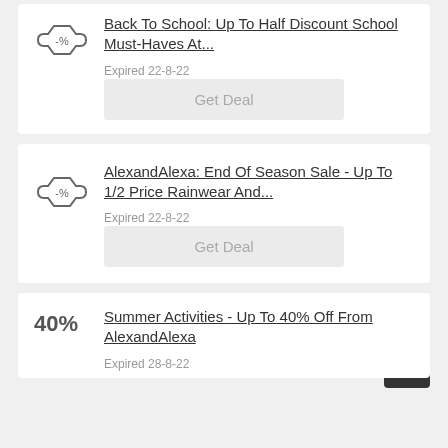Back To School: Up To Half Discount School Must-Haves At...
Expired 22-8-22
Get Deal
AlexandAlexa: End Of Season Sale - Up To 1/2 Price Rainwear And...
Expired 22-8-22
Get Deal
Summer Activities - Up To 40% Off From AlexandAlexa
Expired 28-8-22
40%